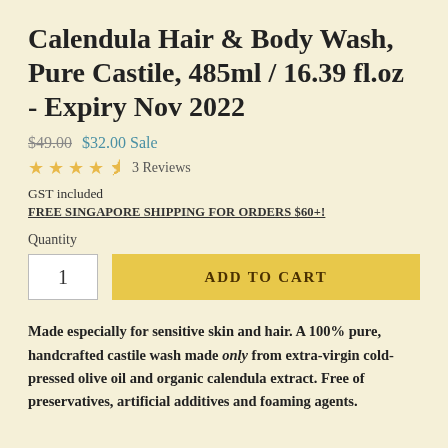Calendula Hair & Body Wash, Pure Castile, 485ml / 16.39 fl.oz - Expiry Nov 2022
$49.00  $32.00 Sale
★★★★½ 3 Reviews
GST included
FREE SINGAPORE SHIPPING FOR ORDERS $60+!
Quantity
1  ADD TO CART
Made especially for sensitive skin and hair. A 100% pure, handcrafted castile wash made only from extra-virgin cold-pressed olive oil and organic calendula extract. Free of preservatives, artificial additives and foaming agents.